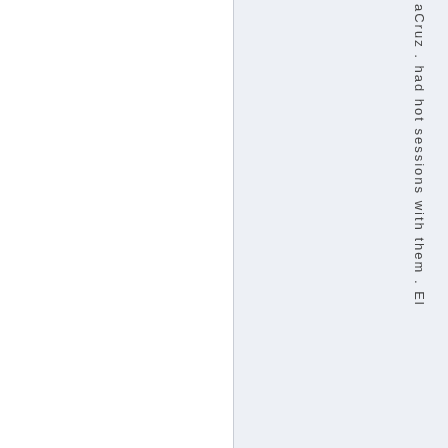aCruz . had hot sessions with them . El
[Figure (other): Two-panel layout: left white panel and right light blue-grey panel with vertically oriented text reading 'aCruz . had hot sessions with them . El']